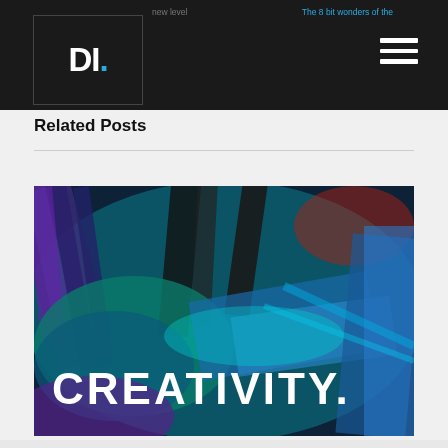DI. | new level | The 8 bit wonders of the
Related Posts
[Figure (photo): Colorful paint brushes with the word CREATIVITY overlaid in white bold text on a dark background of blue, teal, purple, and red painted brush strokes.]